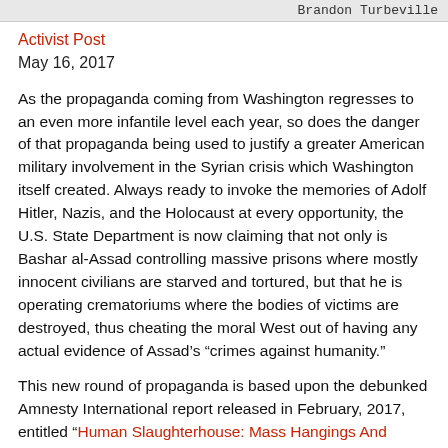Brandon Turbeville
Activist Post
May 16, 2017
As the propaganda coming from Washington regresses to an even more infantile level each year, so does the danger of that propaganda being used to justify a greater American military involvement in the Syrian crisis which Washington itself created. Always ready to invoke the memories of Adolf Hitler, Nazis, and the Holocaust at every opportunity, the U.S. State Department is now claiming that not only is Bashar al-Assad controlling massive prisons where mostly innocent civilians are starved and tortured, but that he is operating crematoriums where the bodies of victims are destroyed, thus cheating the moral West out of having any actual evidence of Assad's “crimes against humanity.”
This new round of propaganda is based upon the debunked Amnesty International report released in February, 2017, entitled “Human Slaughterhouse: Mass Hangings And Extermination At Sednaya Prison, Syria.” The report contained great writing but it was totally devoid of actual